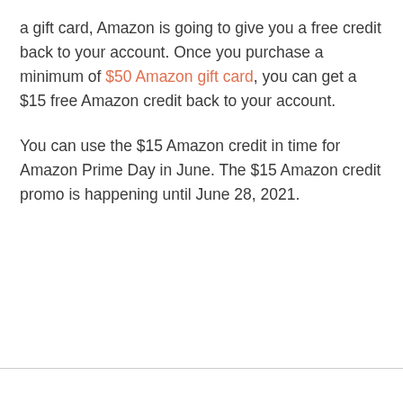a gift card, Amazon is going to give you a free credit back to your account. Once you purchase a minimum of $50 Amazon gift card, you can get a $15 free Amazon credit back to your account.
You can use the $15 Amazon credit in time for Amazon Prime Day in June. The $15 Amazon credit promo is happening until June 28, 2021.